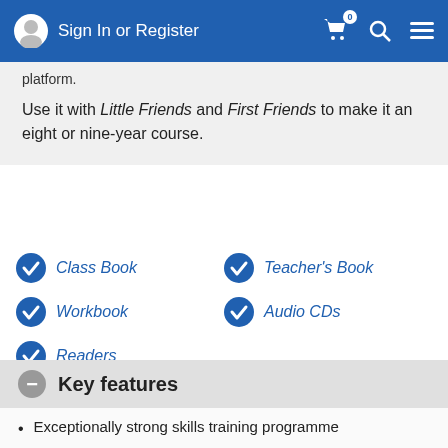Sign In or Register
platform.
Use it with Little Friends and First Friends to make it an eight or nine-year course.
Class Book
Teacher's Book
Workbook
Audio CDs
Readers
Key features
Exceptionally strong skills training programme
Integrated print and digital resources
Step by step phonics programme
Testing resources - including Cambridge Young Learners